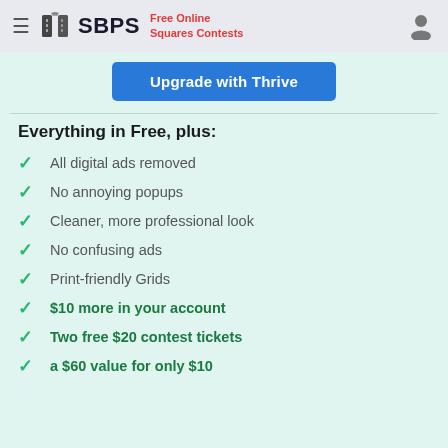SBPS — Free Online Squares Contests
Upgrade with Thrive
Everything in Free, plus:
All digital ads removed
No annoying popups
Cleaner, more professional look
No confusing ads
Print-friendly Grids
$10 more in your account
Two free $20 contest tickets
a $60 value for only $10